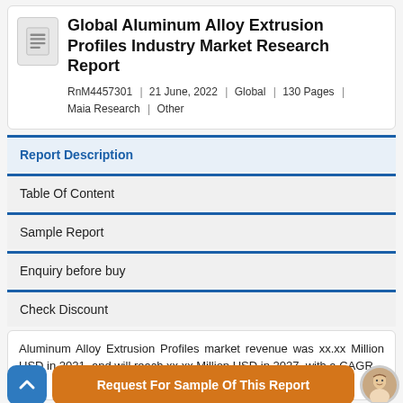Global Aluminum Alloy Extrusion Profiles Industry Market Research Report
RnM4457301  |  21 June, 2022  |  Global  |  130 Pages  |  Maia Research  |  Other
Report Description
Table Of Content
Sample Report
Enquiry before buy
Check Discount
Aluminum Alloy Extrusion Profiles market revenue was xx.xx Million USD in 2021, and will reach xx.xx Million USD in 2027, with a CAGR
Request For Sample Of This Report